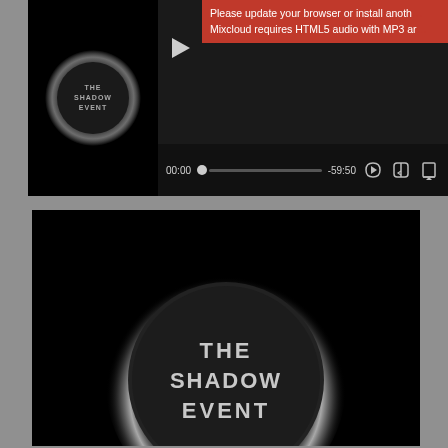[Figure (screenshot): Mixcloud audio player showing 'The Shadow Event' with album art (eclipse logo), error banner 'Please update your browser or install another... Mixcloud requires HTML5 audio with MP3 ar...', playback controls showing time 00:00 and -59:50, and a progress bar.]
[Figure (photo): Dark promotional image for 'The Shadow Event' featuring a large glowing eclipse/solar eclipse graphic with text 'THE SHADOW EVENT' in the center, and the 'Build the Scene - Pittsburgh's Music Destination' logo watermark in the upper portion.]